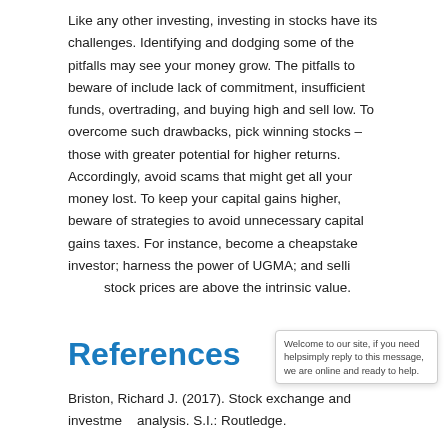Like any other investing, investing in stocks have its challenges. Identifying and dodging some of the pitfalls may see your money grow. The pitfalls to beware of include lack of commitment, insufficient funds, overtrading, and buying high and sell low. To overcome such drawbacks, pick winning stocks – those with greater potential for higher returns. Accordingly, avoid scams that might get all your money lost. To keep your capital gains higher, beware of strategies to avoid unnecessary capital gains taxes. For instance, become a cheapstake investor; harness the power of UGMA; and selling when stock prices are above the intrinsic value.
References
Briston, Richard J. (2017). Stock exchange and investment analysis. S.I.: Routledge.